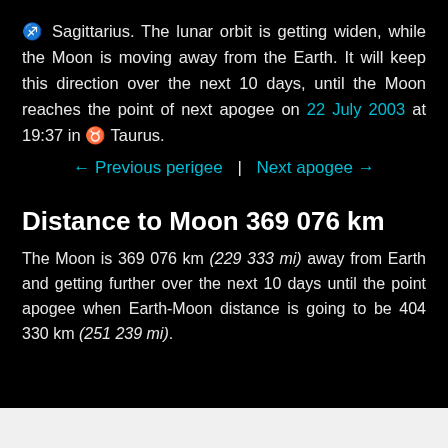♐ Sagittarius. The lunar orbit is getting widen, while the Moon is moving away from the Earth. It will keep this direction over the next 10 days, until the Moon reaches the point of next apogee on 22 July 2003 at 19:37 in ♉ Taurus.
← Previous perigee  |  Next apogee →
Distance to Moon 369 076 km
The Moon is 369 076 km (229 333 mi) away from Earth and getting further over the next 10 days until the point apogee when Earth-Moon distance is going to be 404 330 km (251 239 mi).